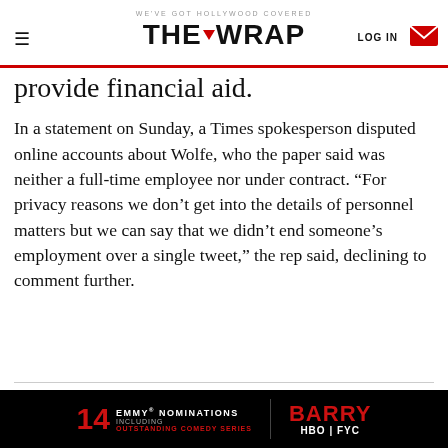WE'VE GOT HOLLYWOOD COVERED | THE WRAP | LOG IN
provide financial aid.
In a statement on Sunday, a Times spokesperson disputed online accounts about Wolfe, who the paper said was neither a full-time employee nor under contract. “For privacy reasons we don’t get into the details of personnel matters but we can say that we didn’t end someone’s employment over a single tweet,” the rep said, declining to comment further.
Also Read:
NY Times Admits ‘Caliphate’ Podcast Fell for
[Figure (infographic): Black advertisement bar for HBO Barry: 14 Emmy Nominations including Outstanding Comedy Series, Barry HBO FYC]